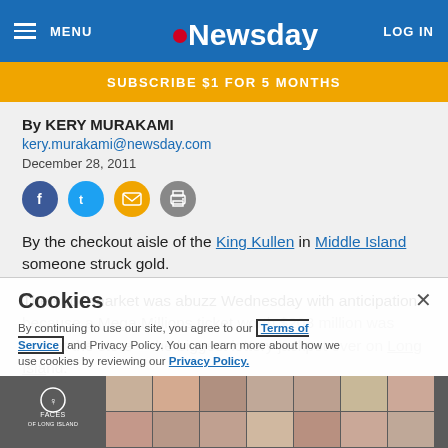MENU | Newsday | LOG IN
SUBSCRIBE $1 FOR 5 MONTHS
By KERY MURAKAMI
kery.murakami@newsday.com
December 28, 2011
[Figure (infographic): Social sharing icons: Facebook, Twitter, Email, Print]
By the checkout aisle of the King Kullen in Middle Island someone struck gold.
The supermarket was abuzz Wednesday with anticipation because a Mega Millions ticket worth $208 million was sold at the store -- the biggest lottery jackpot ever on Long Island.
[Figure (infographic): Cookies consent banner with Terms of Service and Privacy Policy links, and Faces of Long Island photo collage overlay]